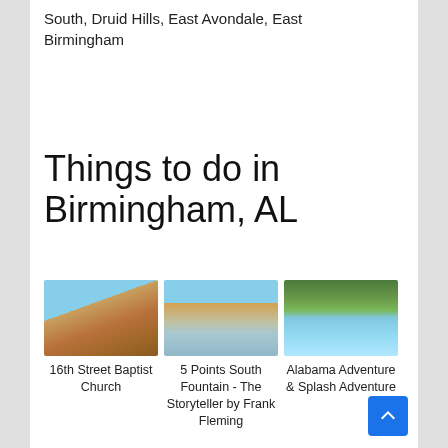South, Druid Hills, East Avondale, East Birmingham
Things to do in Birmingham, AL
[Figure (photo): Three attraction photos: 16th Street Baptist Church, 5 Points South Fountain - The Storyteller by Frank Fleming, Alabama Adventure & Splash Adventure]
16th Street Baptist Church
5 Points South Fountain - The Storyteller by Frank Fleming
Alabama Adventure & Splash Adventure